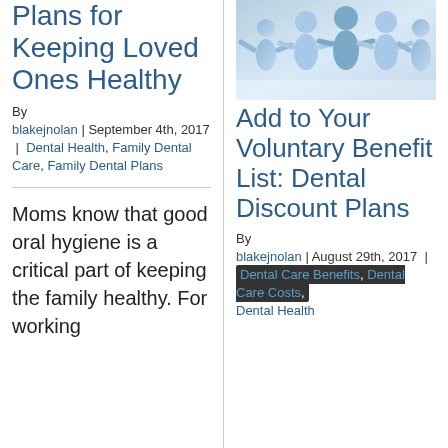Plans for Keeping Loved Ones Healthy
By blakejnolan | September 4th, 2017 | Dental Health, Family Dental Care, Family Dental Plans
Moms know that good oral hygiene is a critical part of keeping the family healthy. For working
[Figure (photo): Blue paper chain figures holding hands, symbolizing family or community]
Add to Your Voluntary Benefit List: Dental Discount Plans
By blakejnolan | August 29th, 2017 | Dental Care Benefits, Dental Care Costs, Dental Health